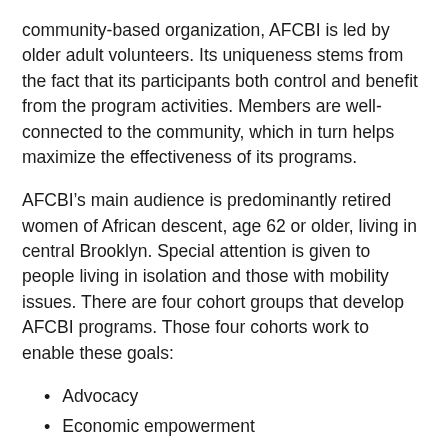community-based organization, AFCBI is led by older adult volunteers. Its uniqueness stems from the fact that its participants both control and benefit from the program activities. Members are well-connected to the community, which in turn helps maximize the effectiveness of its programs.
AFCBI’s main audience is predominantly retired women of African descent, age 62 or older, living in central Brooklyn. Special attention is given to people living in isolation and those with mobility issues. There are four cohort groups that develop AFCBI programs. Those four cohorts work to enable these goals:
Advocacy
Economic empowerment
Intergenerational inclusion
Social inclusion
The group’s focus for 2022 is strengthening the ability of older adults to use technology. Donna Williams, AFCBI ambassador